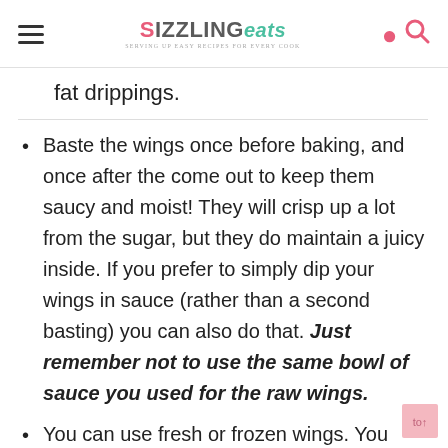SIZZLING eats — serving up easy recipes for every cook
fat drippings.
Baste the wings once before baking, and once after the come out to keep them saucy and moist! They will crisp up a lot from the sugar, but they do maintain a juicy inside. If you prefer to simply dip your wings in sauce (rather than a second basting) you can also do that. Just remember not to use the same bowl of sauce you used for the raw wings.
You can use fresh or frozen wings. You might need to add 5-10 more minutes to the cook time for frozen wings. The